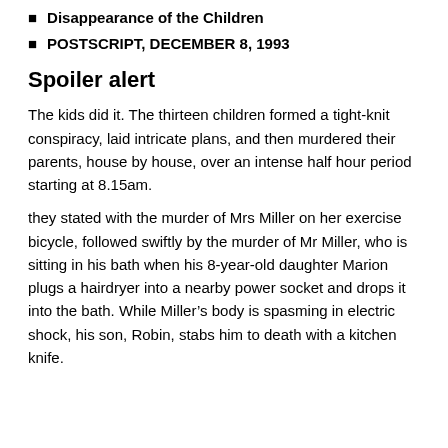Disappearance of the Children
POSTSCRIPT, DECEMBER 8, 1993
Spoiler alert
The kids did it. The thirteen children formed a tight-knit conspiracy, laid intricate plans, and then murdered their parents, house by house, over an intense half hour period starting at 8.15am.
they stated with the murder of Mrs Miller on her exercise bicycle, followed swiftly by the murder of Mr Miller, who is sitting in his bath when his 8-year-old daughter Marion plugs a hairdryer into a nearby power socket and drops it into the bath. While Miller’s body is spasming in electric shock, his son, Robin, stabs him to death with a kitchen knife.